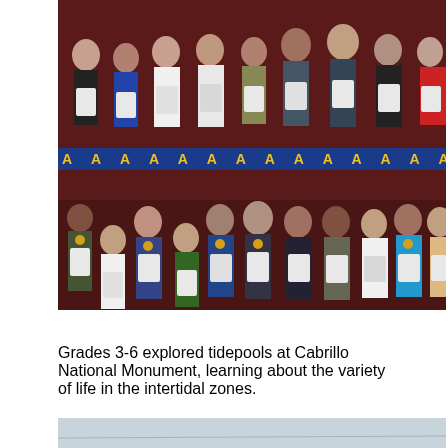[Figure (photo): Group photo of students holding certificates/awards on a stage with a dark red curtain background. A banner with repeating letter A in gold on blue runs across the middle of the photo dividing two rows of students.]
Grades 3-6 explored tidepools at Cabrillo National Monument, learning about the variety of life in the intertidal zones.
[Figure (photo): Partial photo at bottom showing a light grey/blue sky or water scene, cropped at page edge.]